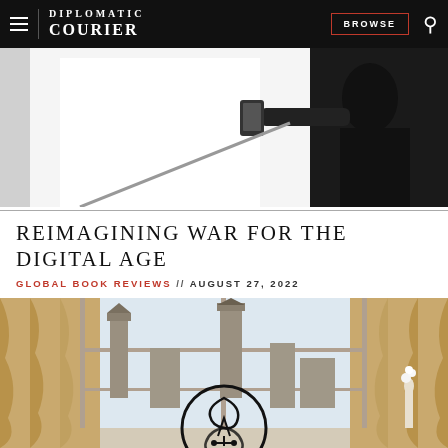DIPLOMATIC COURIER  BROWSE
[Figure (photo): Black and white silhouette photo of a person holding a smartphone against a bright window background]
REIMAGINING WAR FOR THE DIGITAL AGE
GLOBAL BOOK REVIEWS // AUGUST 27, 2022
[Figure (photo): Interior scene with golden curtains flanking a window overlooking a European cityscape with Gothic church towers; a circular logo/emblem is overlaid in the center bottom]